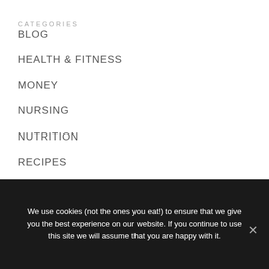CATEGORIES
BLOG
HEALTH & FITNESS
MONEY
NURSING
NUTRITION
RECIPES
UNCATEGORIZED
We use cookies (not the ones you eat!) to ensure that we give you the best experience on our website. If you continue to use this site we will assume that you are happy with it.